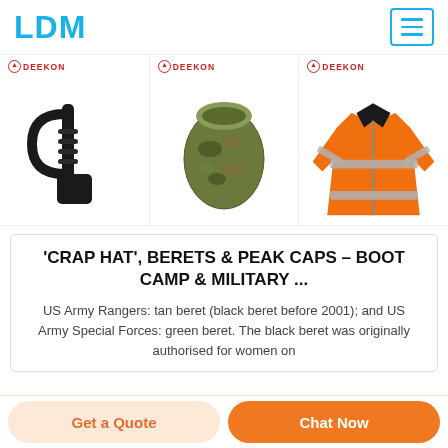LDM
[Figure (screenshot): Three product images from Deekon: a black tactical baton/handle, a camouflage sleeping bag, and an orange high-visibility safety jacket]
'CRAP HAT', BERETS & PEAK CAPS – BOOT CAMP & MILITARY ...
US Army Rangers: tan beret (black beret before 2001); and US Army Special Forces: green beret. The black beret was originally authorised for women on
Get a Quote
Chat Now